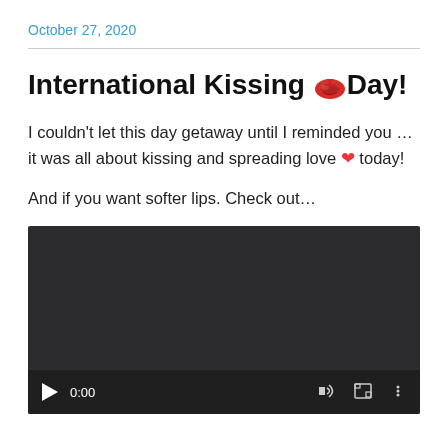October 27, 2020
International Kissing 💋Day!
I couldn't let this day getaway until I reminded you … it was all about kissing and spreading love ❤ today!
And if you want softer lips. Check out…
[Figure (screenshot): Embedded video player showing a dark/black screen with playback controls at the bottom: play button, time display '0:00', volume icon, fullscreen icon, and options icon.]